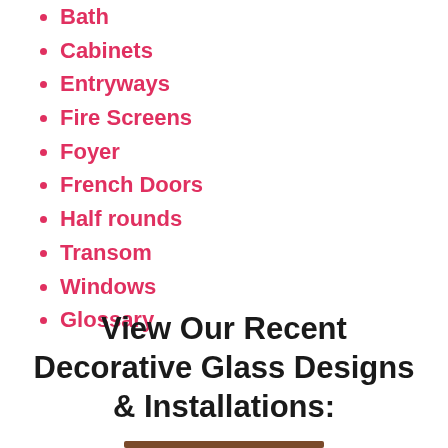Bath
Cabinets
Entryways
Fire Screens
Foyer
French Doors
Half rounds
Transom
Windows
Glossary
View Our Recent Decorative Glass Designs & Installations: